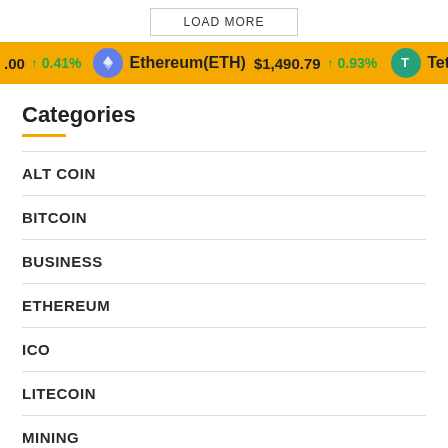LOAD MORE
[Figure (infographic): Cryptocurrency ticker bar showing Ethereum(ETH) $1,490.79 up 0.93% and partial Tether logo, with 0.41% up indicator on left]
Categories
ALT COIN
BITCOIN
BUSINESS
ETHEREUM
ICO
LITECOIN
MINING
NFT
RIPPLE